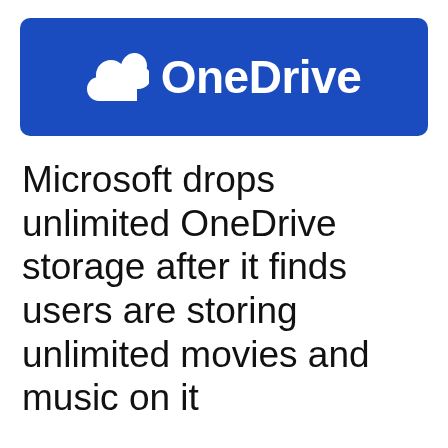[Figure (logo): Microsoft OneDrive logo — white cloud icon and white 'OneDrive' text on a blue rounded rectangle banner]
Microsoft drops unlimited OneDrive storage after it finds users are storing unlimited movies and music on it
Microsoft has backtracked on its promise to give unlimited OneDrive storage to paid Office 365 Home and Personal subscribers because they are misusing